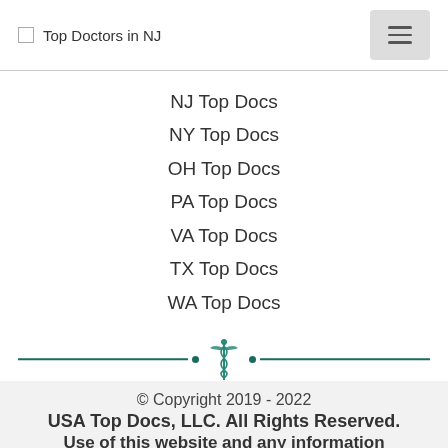Top Doctors in NJ
NJ Top Docs
NY Top Docs
OH Top Docs
PA Top Docs
VA Top Docs
TX Top Docs
WA Top Docs
[Figure (illustration): Caduceus medical symbol with teal horizontal divider lines and dots]
© Copyright 2019 - 2022
USA Top Docs, LLC. All Rights Reserved.
Use of this website and any information